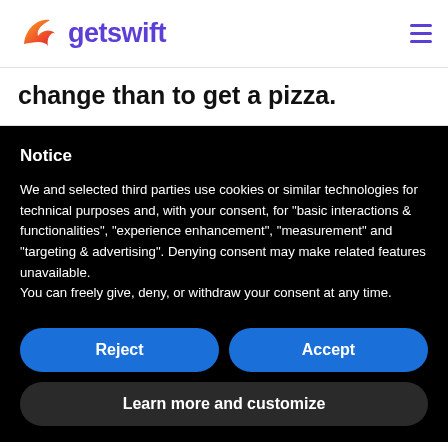getswift
change than to get a pizza.
Notice
We and selected third parties use cookies or similar technologies for technical purposes and, with your consent, for "basic interactions & functionalities", "experience enhancement", "measurement" and "targeting & advertising". Denying consent may make related features unavailable.
You can freely give, deny, or withdraw your consent at any time.
Reject
Accept
Learn more and customize